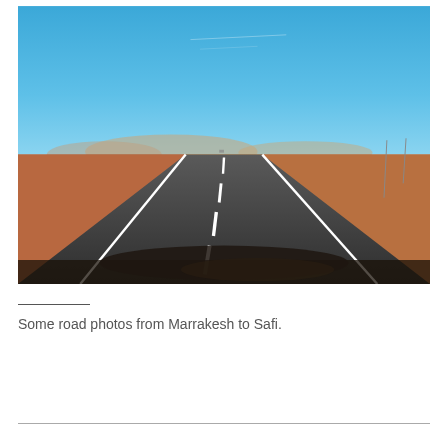[Figure (photo): A road photo taken from inside a car dashboard perspective, showing a two-lane asphalt road stretching into the distance through a flat arid landscape with brown and red earth on both sides, mountains visible in the far background, and a bright blue sky. White dashed centerline markings and solid white edge lines are visible on the road. The car's dashboard is partially visible at the bottom.]
Some road photos from Marrakesh to Safi.